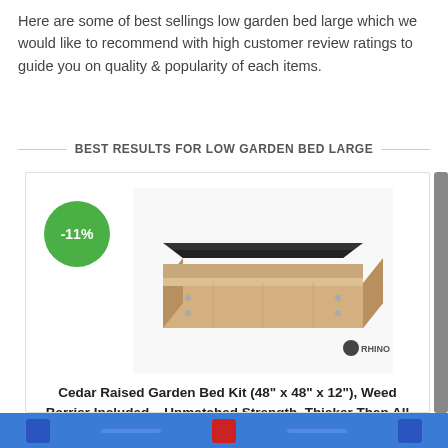Here are some of best sellings low garden bed large which we would like to recommend with high customer review ratings to guide you on quality & popularity of each items.
BEST RESULTS FOR LOW GARDEN BED LARGE
[Figure (photo): Product card showing a wooden cedar raised garden bed kit with a -11% discount badge. The garden bed is rectangular, made of light-colored cedar wood with a dark interior liner. Branded with 'RHINO' logo at bottom right of image.]
Cedar Raised Garden Bed Kit (48" x 48" x 12"), Weed Barrier Included – Unmatched Strength, Thicker Than All Other Elevated Planters – 100% Rot Resistant Cedar – Fast Assembly No Tools Needed